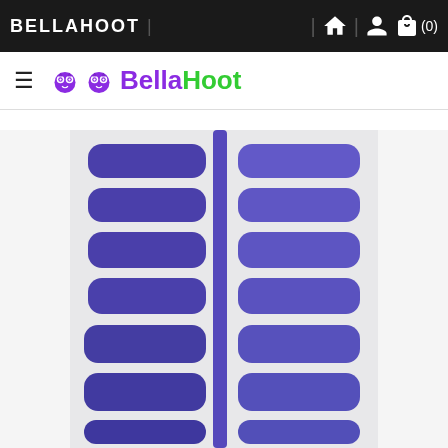BELLAHOOT | (0)
BellaHoot
[Figure (photo): Product photo showing two columns of purple nail wrap strips on a white/marble background, with a purple vertical divider strip in the middle. The nail strips are rounded-rectangle shaped in a medium-dark purple/indigo color.]